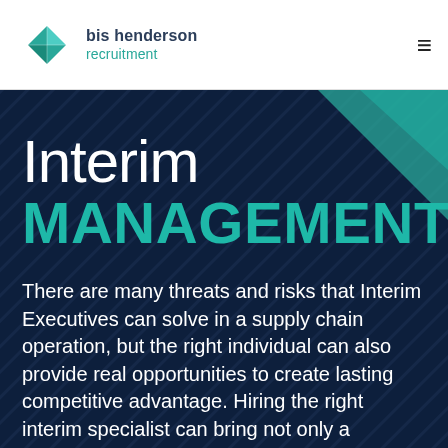[Figure (logo): bis henderson recruitment logo with teal diamond shape icon]
Interim MANAGEMENT
There are many threats and risks that Interim Executives can solve in a supply chain operation, but the right individual can also provide real opportunities to create lasting competitive advantage. Hiring the right interim specialist can bring not only a